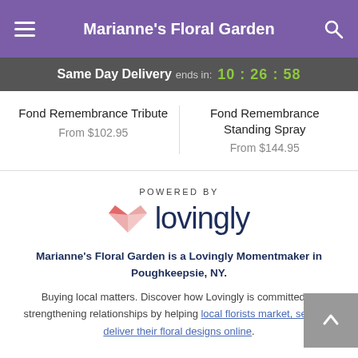Marianne's Floral Garden
Same Day Delivery ends in: 10:26:58
Fond Remembrance Tribute
From $102.95
Fond Remembrance Standing Spray
From $144.95
[Figure (logo): Powered by Lovingly logo with pink heart icon and dark navy text]
Marianne's Floral Garden is a Lovingly Momentmaker in Poughkeepsie, NY.
Buying local matters. Discover how Lovingly is committed to strengthening relationships by helping local florists market, sell, and deliver their floral designs online.